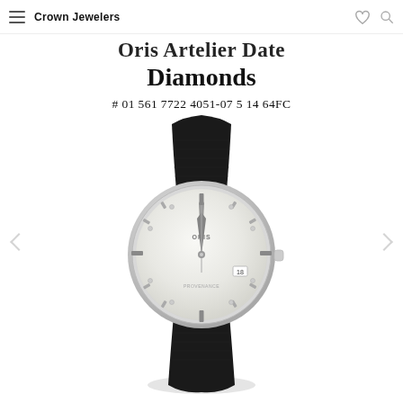Crown Jewelers
Oris Artelier Date Diamonds
# 01 561 7722 4051-07 5 14 64FC
[Figure (photo): Oris Artelier Date Diamonds watch with silver dial and black crocodile leather strap, shown at an angle on white background.]